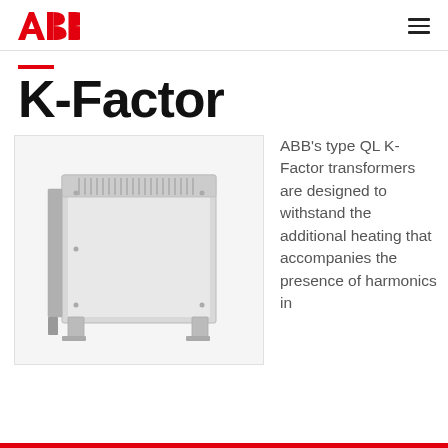ABB K-Factor
K-Factor
[Figure (photo): ABB type QL K-Factor transformer — a large grey metal enclosure with ventilation slats on top, mounted on metal legs, shown at a three-quarter angle.]
ABB's type QL K-Factor transformers are designed to withstand the additional heating that accompanies the presence of harmonics in